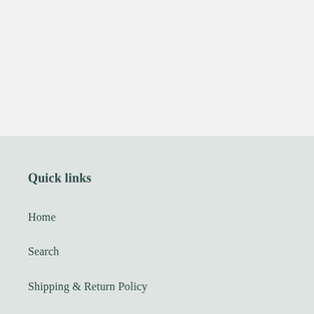Quick links
Home
Search
Shipping & Return Policy